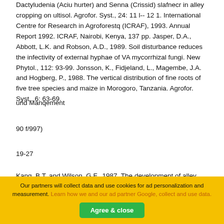Dactyludenia (Aciu hurter) and Senna (Crissid) slafnecr in alley cropping on ultisol. Agrofor. Syst., 24: 11 l-- 12 1. International Centre for Research in Agroforestq (ICRAF), 1993. Annual Report 1992. ICRAF, Nairobi, Kenya, 137 pp. Jasper, D.A., Abbott, L.K. and Robson, A.D., 1989. Soil disturbance reduces the infectivity of external hyphae of VA mycorrhizal fungi. New Phytol., 112: 93-99. Jonsson, K., Fidjeland, L., Magembe, J.A. and Hogberg, P., 1988. The vertical distribution of fine roots of five tree species and maize in Morogoro, Tanzania. Agrofor. Syst., 6: 63-69.
und Manqement
90 f/997)
19-27
Kang, B.T. and Wilson, G.F., 1987. The development of alley cropping as a promising agroforestry technology. In: H.A. Steppler and P.K.R. Nair (Editors), Agroforestry, a Decade of Development. ICRAF, Nairobi, pp. 227--24X Koske, R.E. and
Our partners will collect data and use cookies for ad personalization and measurement. Learn how we and our ad partner Google, collect and use data.